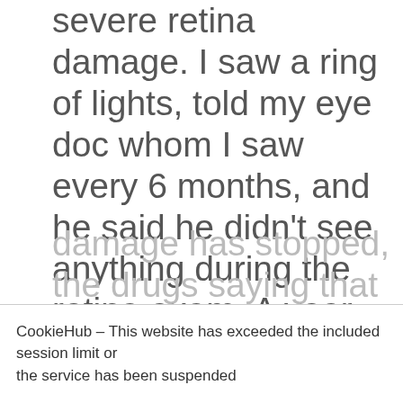severe retina damage. I saw a ring of lights, told my eye doc whom I saw every 6 months, and he said he didn't see anything during the retina exam. A year later, after moving to another state, I saw another eye doc for my checkup. I told her what I was seeing, blurred vision in the left eye, lights in a circle, right eye, lights in a partial circle. She did a retina exam, saw nothing abnormal, but ordered additional tests. They showed severe damage. I've been off for three years now, and the
damage has stopped, the drugs saying that helped me a lot. But just make
CookieHub – This website has exceeded the included session limit or the service has been suspended